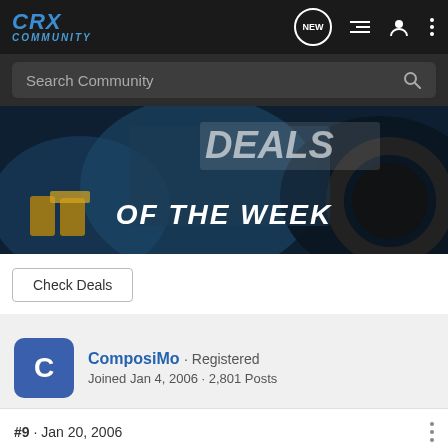CRX Community
Search Community
[Figure (photo): Automotive parts close-up with text 'OF THE WEEK' overlaid on a dark blue background]
Check Deals
ComposiMo · Registered
Joined Jan 4, 2006 · 2,801 Posts
#9 · Jan 20, 2006